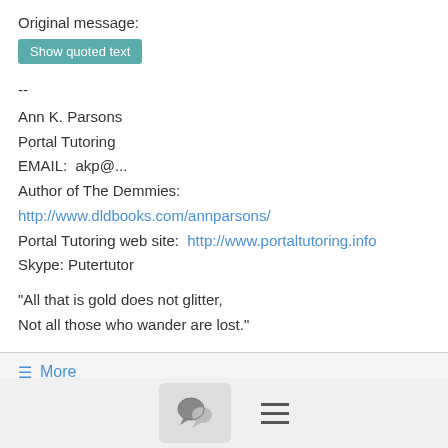Original message:
Show quoted text
--
Ann K. Parsons
Portal Tutoring
EMAIL:  akp@...
Author of The Demmies: http://www.dldbooks.com/annparsons/
Portal Tutoring web site:  http://www.portaltutoring.info
Skype: Putertutor
"All that is gold does not glitter,
Not all those who wander are lost."
≡ More
Re: BlindShell Classic
Howard Traxler  4/03/20